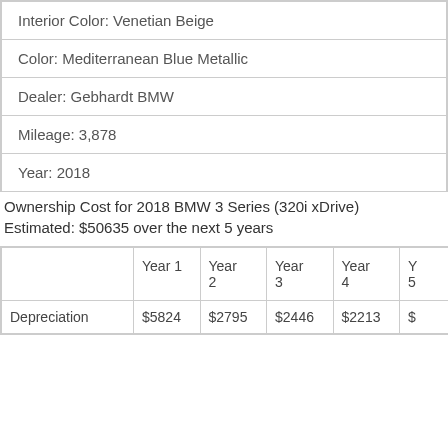| Interior Color: Venetian Beige |
| Color: Mediterranean Blue Metallic |
| Dealer: Gebhardt BMW |
| Mileage: 3,878 |
| Year: 2018 |
Ownership Cost for 2018 BMW 3 Series (320i xDrive)
Estimated: $50635 over the next 5 years
|  | Year 1 | Year 2 | Year 3 | Year 4 | Year 5 |
| --- | --- | --- | --- | --- | --- |
| Depreciation | $5824 | $2795 | $2446 | $2213 |  |